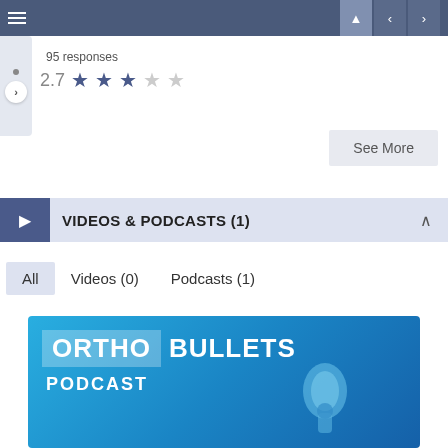Navigation bar with hamburger menu and navigation arrows
95 responses
2.7 ★ ★ ★ ☆ ☆
See More
VIDEOS & PODCASTS (1)
All
Videos (0)
Podcasts (1)
[Figure (screenshot): ORTHO BULLETS PODCAST logo/thumbnail image with blue gradient background and microphone graphic]